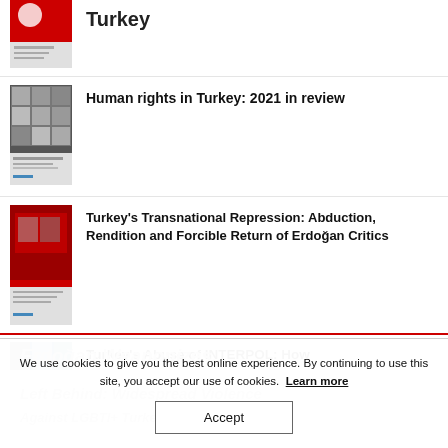Turkey
Human rights in Turkey: 2021 in review
Turkey’s Transnational Repression: Abduction, Rendition and Forcible Return of Erdoğan Critics
Turkey’s Abuse of INTERPOL: How Erdoğan Weaponizes...
We use cookies to give you the best online experience. By continuing to use this site, you accept our use of cookies.  Learn more
Accept